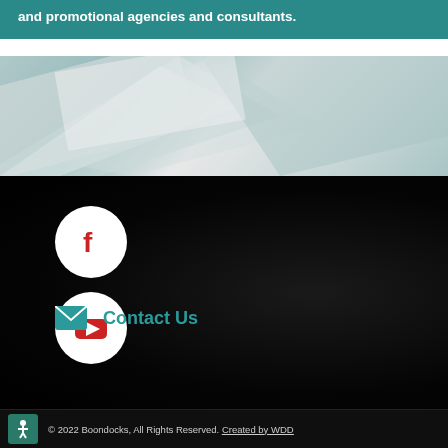and promotional agencies and consultants.
[Figure (illustration): Decorative geometric shapes in teal/grey tones forming an abstract background]
[Figure (illustration): Dark background section with shadowy figure. Contains Facebook icon (white circle with red f), YouTube icon (white circle with red play button), and Contact Us link with envelope icon in teal.]
© 2022 Boondocks, All Rights Reserved. Created by WDD